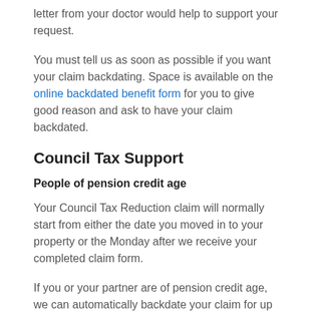letter from your doctor would help to support your request.
You must tell us as soon as possible if you want your claim backdating. Space is available on the online backdated benefit form for you to give good reason and ask to have your claim backdated.
Council Tax Support
People of pension credit age
Your Council Tax Reduction claim will normally start from either the date you moved in to your property or the Monday after we receive your completed claim form.
If you or your partner are of pension credit age, we can automatically backdate your claim for up to three months from the date you apply, providing your circumstances